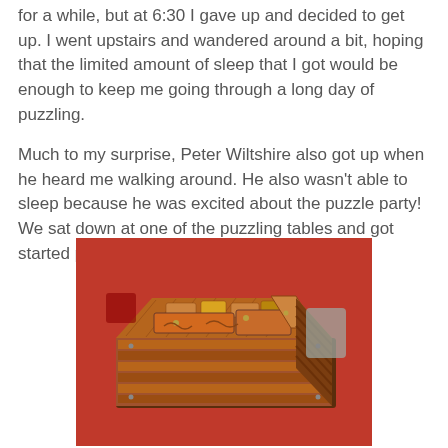for a while, but at 6:30 I gave up and decided to get up. I went upstairs and wandered around a bit, hoping that the limited amount of sleep that I got would be enough to keep me going through a long day of puzzling.
Much to my surprise, Peter Wiltshire also got up when he heard me walking around. He also wasn't able to sleep because he was excited about the puzzle party! We sat down at one of the puzzling tables and got started puzzling.
[Figure (photo): A wooden mechanical puzzle box with interlocking pieces, sliding parts, and metal hardware, photographed on a red surface. Other items are partially visible in the background.]